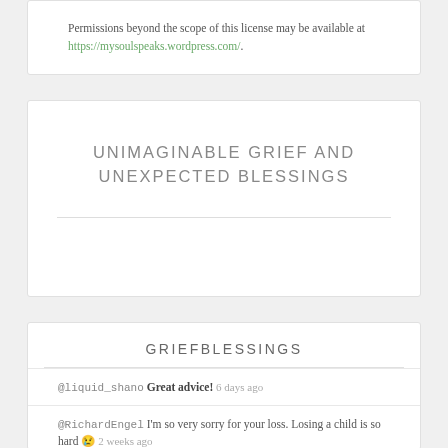Permissions beyond the scope of this license may be available at https://mysoulspeaks.wordpress.com/.
UNIMAGINABLE GRIEF AND UNEXPECTED BLESSINGS
GRIEFBLESSINGS
@liquid_shano Great advice! 6 days ago
@RichardEngel I'm so very sorry for your loss. Losing a child is so hard 😢 2 weeks ago